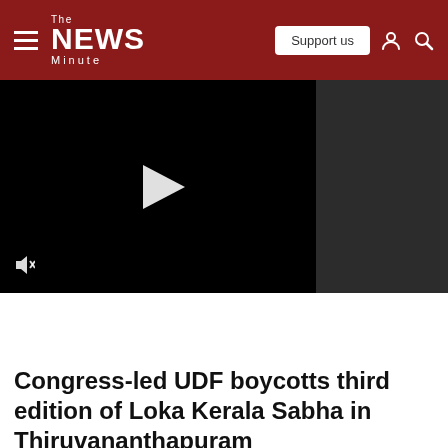The News Minute
[Figure (screenshot): Embedded video player with black background, white play button triangle in center, mute icon at bottom-left, and dark grey sidebar panel on the right]
Congress-led UDF boycotts third edition of Loka Kerala Sabha in Thiruvananthapuram
The Loka Kerala Sabha is a platform of non-resident Keralites